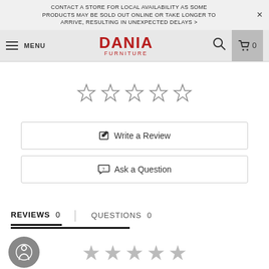CONTACT A STORE FOR LOCAL AVAILABILITY AS SOME PRODUCTS MAY BE SOLD OUT ONLINE OR TAKE LONGER TO ARRIVE, RESULTING IN UNEXPECTED DELAYS >
[Figure (screenshot): Dania Furniture website navigation bar with hamburger menu, MENU text, Dania Furniture logo in red, search icon, and cart icon showing 0 items]
[Figure (other): Five empty/outline star rating icons]
Write a Review
Ask a Question
REVIEWS  0    QUESTIONS  0
[Figure (other): Five gray star icons at bottom of page]
[Figure (other): Accessibility button (circular gray button with person icon)]